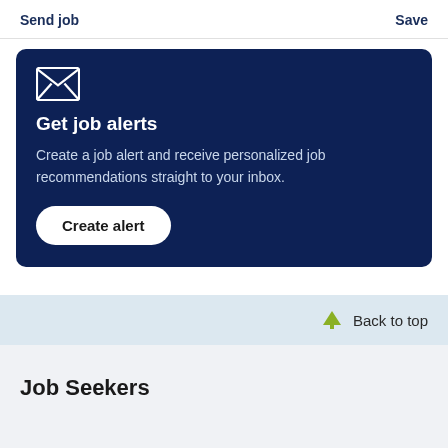Send job | Save
[Figure (infographic): Dark navy blue card with envelope icon, 'Get job alerts' heading, descriptive text, and 'Create alert' button]
Back to top
Job Seekers